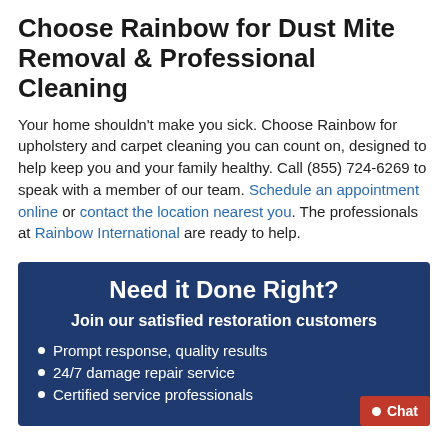Choose Rainbow for Dust Mite Removal & Professional Cleaning
Your home shouldn't make you sick. Choose Rainbow for upholstery and carpet cleaning you can count on, designed to help keep you and your family healthy. Call (855) 724-6269 to speak with a member of our team. Schedule an appointment online or contact the location nearest you. The professionals at Rainbow International are ready to help.
Need it Done Right?
Join our satisfied restoration customers
Prompt response, quality results
24/7 damage repair service
Certified service professionals